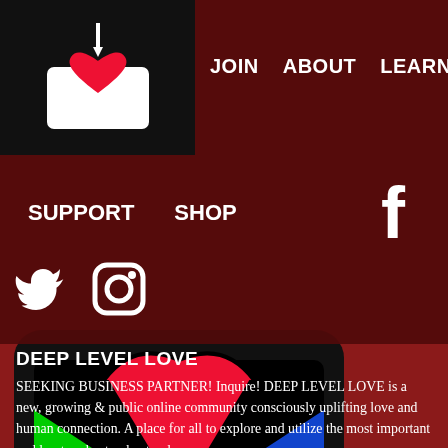[Figure (logo): Heart in a tray/envelope logo on black background]
JOIN   ABOUT   LEARN
SUPPORT   SHOP   [Facebook icon]
[Twitter icon] [Instagram icon]
[Figure (logo): Deep Level Love app icon - colorful envelope with heart, on black rounded rectangle background]
DEEP LEVEL LOVE
SEEKING BUSINESS PARTNER! Inquire! DEEP LEVEL LOVE is a new, growing & public online community consciously uplifting love and human connection. A place for all to explore and utilize the most important and least understood natural